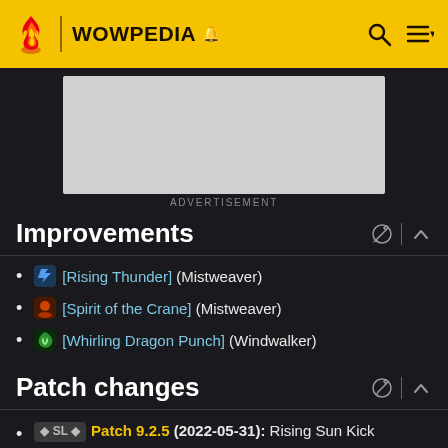WOWPEDIA
[Figure (screenshot): Advertisement placeholder box]
ADVERTISEMENT
Improvements
[Rising Thunder] (Mistweaver)
[Spirit of the Crane] (Mistweaver)
[Whirling Dragon Punch] (Windwalker)
Patch changes
Patch 9.2.5 (2022-05-31): Rising Sun Kick damage increased by 20%. This change does not